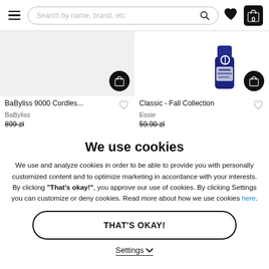Search by name, brand, etc
[Figure (screenshot): Product card: BaByliss 9000 Cordles... by BaByliss, price 899 zł, with shopping cart button and wishlist heart]
[Figure (screenshot): Product card: Classic - Fall Collection by Essie, price 59.90 zł, with shopping cart button and wishlist heart, shows a nail polish bottle]
We use cookies
We use and analyze cookies in order to be able to provide you with personally customized content and to optimize marketing in accordance with your interests. By clicking "That's okay!", you approve our use of cookies. By clicking Settings you can customize or deny cookies. Read more about how we use cookies here.
THAT'S OKAY!
Settings